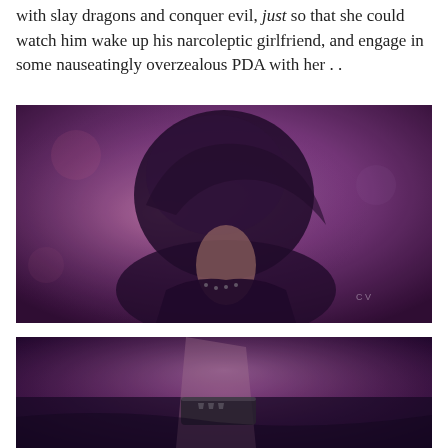with slay dragons and conquer evil, just so that she could watch him wake up his narcoleptic girlfriend, and engage in some nauseatingly overzealous PDA with her . .
[Figure (photo): A purple-tinted photograph showing a person with dark hair leaning forward, wearing dark clothing with decorative detail at the neckline. The image has a moody, cinematic purple/magenta color treatment.]
[Figure (photo): A purple-tinted photograph showing a close-up of what appears to be a person's arm or wrist with studded or decorative accessories, on a dark background. Same cinematic purple color treatment as the image above.]